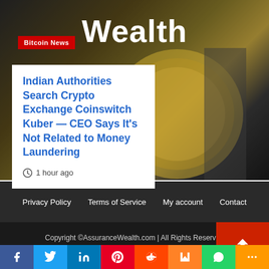Wealth
Bitcoin News
Indian Authorities Search Crypto Exchange Coinswitch Kuber — CEO Says It's Not Related to Money Laundering
1 hour ago
Privacy Policy   Terms of Service   My account   Contact
Copyright ©AssuranceWealth.com | All Rights Reserved